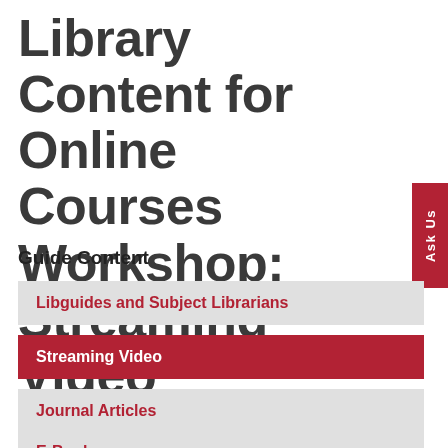Library Content for Online Courses Workshop: Streaming Video
Guide Content
Libguides and Subject Librarians
Streaming Video
Journal Articles
E-Books